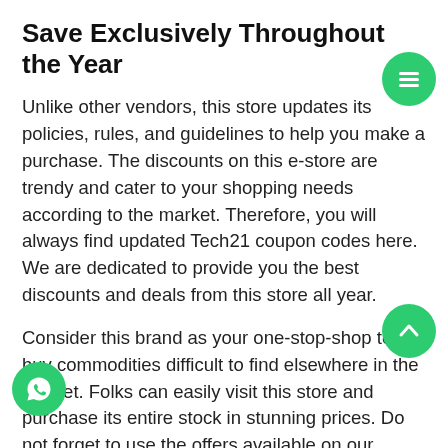Save Exclusively Throughout the Year
Unlike other vendors, this store updates its policies, rules, and guidelines to help you make a purchase. The discounts on this e-store are trendy and cater to your shopping needs according to the market. Therefore, you will always find updated Tech21 coupon codes here. We are dedicated to provide you the best discounts and deals from this store all year.
Consider this brand as your one-stop-shop to buy commodities difficult to find elsewhere in the market. Folks can easily visit this store and purchase its entire stock in stunning prices. Do not forget to use the offers available on our website. So, hurry up because the deals listed here are available for a limited time pe
Nowadays, competition has taken hold of everything in ecommerce shopping industry. Retailers are busy in owning huge shopping stores to outpace others. However, only a few are successfully maintaining their